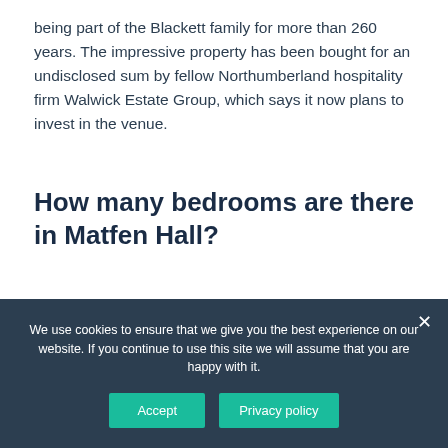being part of the Blackett family for more than 260 years. The impressive property has been bought for an undisclosed sum by fellow Northumberland hospitality firm Walwick Estate Group, which says it now plans to invest in the venue.
How many bedrooms are there in Matfen Hall?
As beautiful as the breathtaking Northumberland landscape that surrounds us, each of our 53 bedrooms
We use cookies to ensure that we give you the best experience on our website. If you continue to use this site we will assume that you are happy with it.